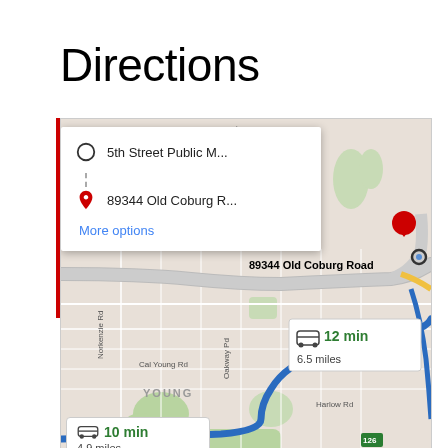Directions
[Figure (map): Google Maps screenshot showing directions from 5th Street Public M... to 89344 Old Coburg R... with two route options: 12 min / 6.5 miles and 10 min / 4.9 miles. Map shows area around Cal Young Rd, Norkenzie Rd, Harlow Rd, and the YOUNG neighborhood.]